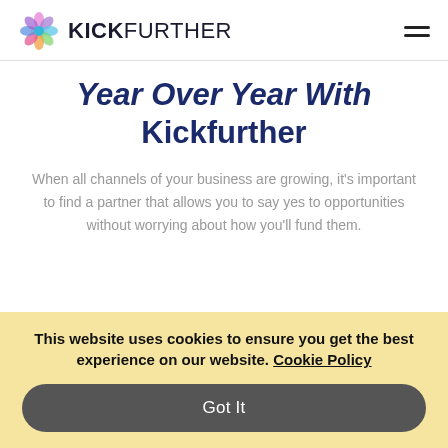KICKFURTHER
Year Over Year With Kickfurther
When all channels of your business are growing, it's important to find a partner that allows you to say yes to opportunities without worrying about how you'll fund them.
This website uses cookies to ensure you get the best experience on our website. Cookie Policy
Got It